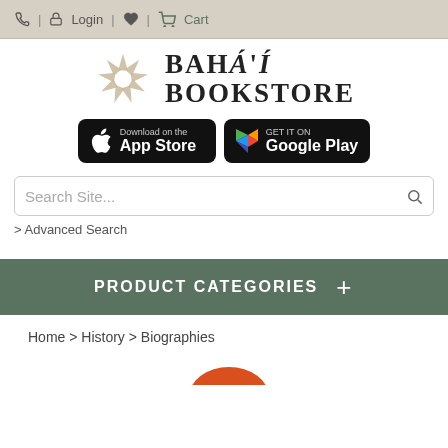Phone | Login | Heart | Cart
[Figure (logo): Bahá'í Bookstore logo with nine-pointed star and serif text]
[Figure (screenshot): Download on the App Store and GET IT ON Google Play badges]
Search Site...
> Advanced Search
PRODUCT CATEGORIES +
Home > History > Biographies
[Figure (photo): Partial orange book cover at bottom of page]